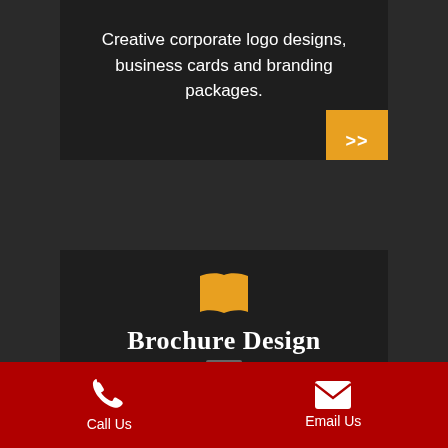Creative corporate logo designs, business cards and branding packages.
[Figure (illustration): Orange double chevron >> button on dark background]
[Figure (illustration): Orange open book / map icon]
Brochure Design
Brochure...
Call Us   Email Us